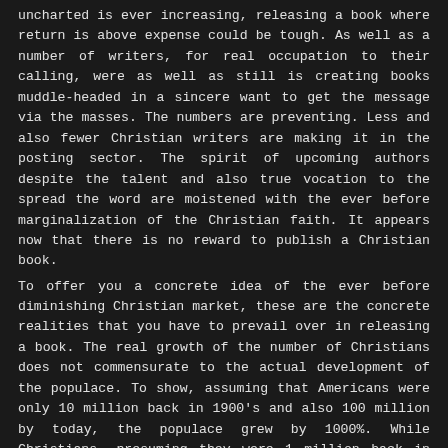uncharted is ever increasing, releasing a book where return is above expense could be tough. As well as a number of writers, for real occupation to their calling, were as well as still is creating books muddle-headed in a sincere want to get the message via the masses. The numbers are preventing. Less and also fewer Christian writers are making it in the posting sector. The spirit of upcoming authors despite the talent and also true vocation to the spread the word are moistened with the ever before marginalization of the Christian faith. It appears now that there is no reward to publish a Christian book.
To offer you a concrete idea of the ever before diminishing Christian market, these are the concrete realities that you have to prevail over in releasing a book. The real growth of the number of Christians does not commensurate to the actual development of the populace. To show, assuming that Americans were only 10 million back in 1900's and also 100 million by today, the populace grew by 1000%. While Christians, presuming they were 1 million back in 1900's, they are 1.5 million today with the plain 50% price of their